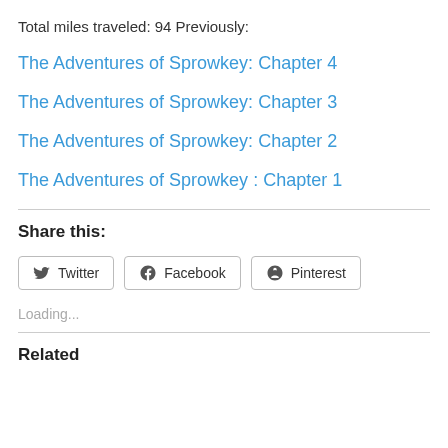Total miles traveled: 94 Previously:
The Adventures of Sprowkey: Chapter 4
The Adventures of Sprowkey: Chapter 3
The Adventures of Sprowkey: Chapter 2
The Adventures of Sprowkey : Chapter 1
Share this:
Twitter  Facebook  Pinterest
Loading...
Related